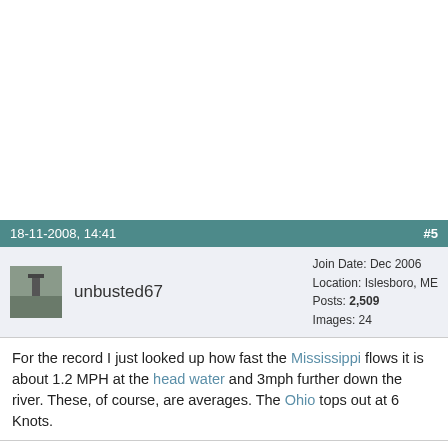18-11-2008, 14:41   #5
unbusted67 — Join Date: Dec 2006 | Location: Islesboro, ME | Posts: 2,509 | Images: 24
For the record I just looked up how fast the Mississippi flows it is about 1.2 MPH at the head water and 3mph further down the river. These, of course, are averages. The Ohio tops out at 6 Knots.
Quote: Originally Posted by TexSail — Another option would be coming up the Gulf Intracoastal